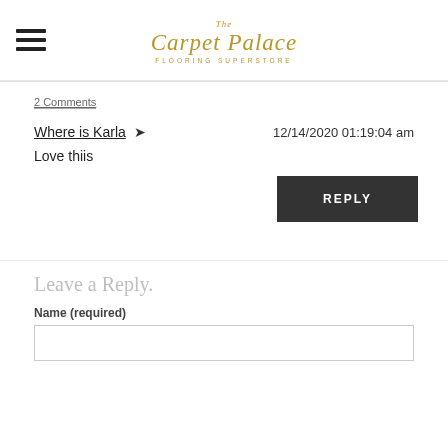The Carpet Palace Flooring Superstore
2 Comments
Where is Karla
12/14/2020 01:19:04 am
Love thiis
REPLY
Leave a Reply.
Name (required)